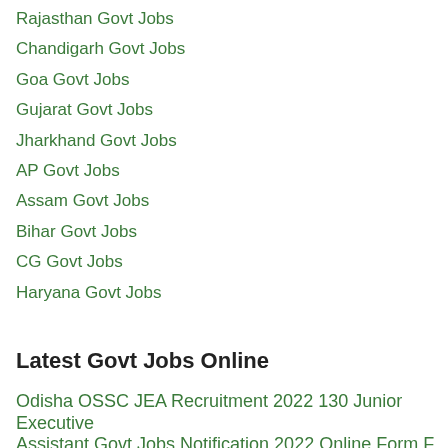Rajasthan Govt Jobs
Chandigarh Govt Jobs
Goa Govt Jobs
Gujarat Govt Jobs
Jharkhand Govt Jobs
AP Govt Jobs
Assam Govt Jobs
Bihar Govt Jobs
CG Govt Jobs
Haryana Govt Jobs
Latest Govt Jobs Online
Odisha OSSC JEA Recruitment 2022 130 Junior Executive Assistant Govt Jobs Notification 2022 Online Form Form...